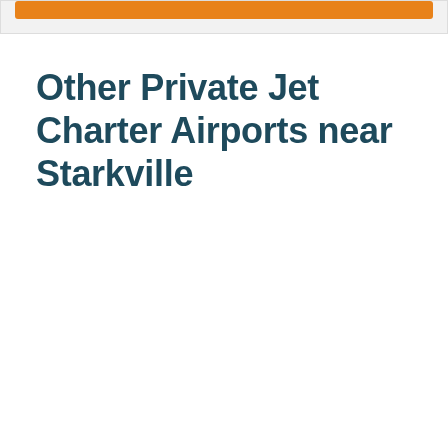[Figure (other): Orange button or bar element at the top of a card/container]
Other Private Jet Charter Airports near Starkville